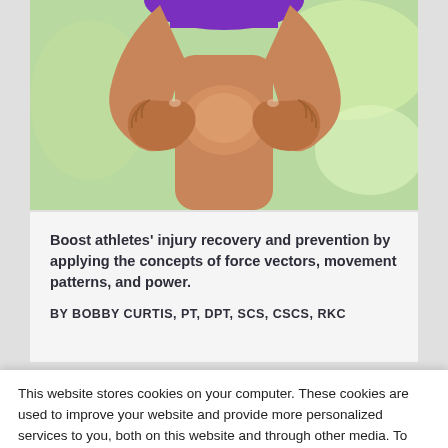[Figure (photo): Photo of a person in a purple top holding their knee, suggesting a sports injury or knee pain, with a blurred green outdoor background.]
Boost athletes' injury recovery and prevention by applying the concepts of force vectors, movement patterns, and power.
BY BOBBY CURTIS, PT, DPT, SCS, CSCS, RKC
This website stores cookies on your computer. These cookies are used to improve your website and provide more personalized services to you, both on this website and through other media. To find out more about the cookies we use, see our Privacy Policy.
Accept